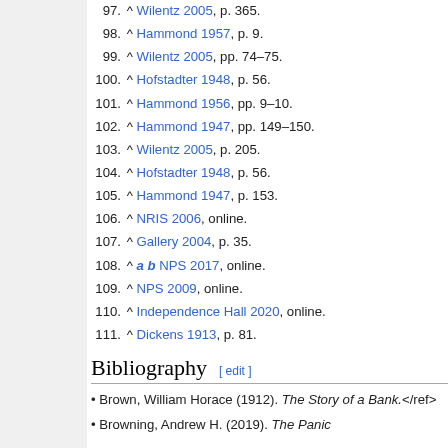97. ^ Wilentz 2005, p. 365.
98. ^ Hammond 1957, p. 9.
99. ^ Wilentz 2005, pp. 74–75.
100. ^ Hofstadter 1948, p. 56.
101. ^ Hammond 1956, pp. 9–10.
102. ^ Hammond 1947, pp. 149–150.
103. ^ Wilentz 2005, p. 205.
104. ^ Hofstadter 1948, p. 56.
105. ^ Hammond 1947, p. 153.
106. ^ NRIS 2006, online.
107. ^ Gallery 2004, p. 35.
108. ^ a b NPS 2017, online.
109. ^ NPS 2009, online.
110. ^ Independence Hall 2020, online.
111. ^ Dickens 1913, p. 81.
Bibliography
Brown, William Horace (1912). The Story of a Bank.</ref>
Browning, Andrew H. (2019). The Panic